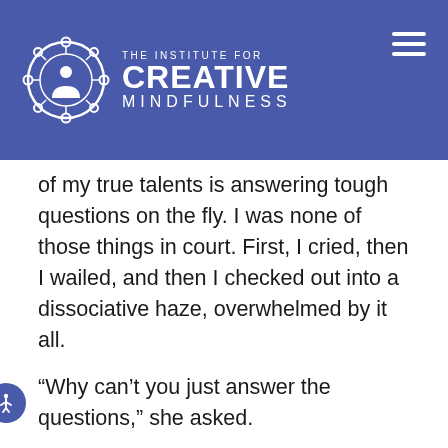THE INSTITUTE FOR CREATIVE MINDFULNESS
of my true talents is answering tough questions on the fly.  I was none of those things in court. First, I cried, then I wailed, and then I checked out into a dissociative haze, overwhelmed by it all.
“Why can’t you just answer the questions,” she asked.
I wanted to explain how abuse can cause this in a person—shuts us off so that nothing makes sense anymore. But I just froze.
And Baba saved the day.
Not only did looking at him give me a sufficient level of grounding to at least scratch out some semblance of answer to those very difficult questions, he had also agreed to be my witness, testifying to my incompatibility...